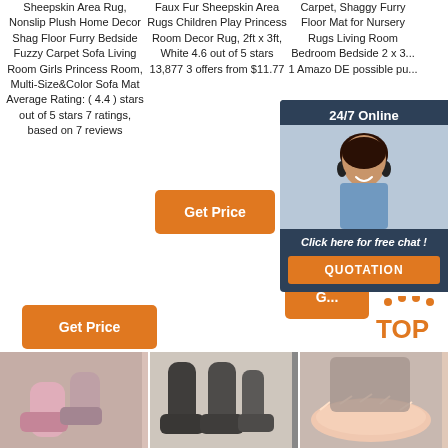Sheepskin Area Rug, Nonslip Plush Home Decor Shag Floor Furry Bedside Fuzzy Carpet Sofa Living Room Girls Princess Room, Multi-Size&Color Sofa Mat Average Rating: ( 4.4 ) stars out of 5 stars 7 ratings, based on 7 reviews
Faux Fur Sheepskin Area Rugs Children Play Princess Room Decor Rug, 2ft x 3ft, White 4.6 out of 5 stars 13,877 3 offers from $11.77
Carpet, Shaggy Furry Floor Mat for Nursery Rugs Living Room Bedroom Bedside 2 x 3 ... 1 ... Amazo ... DE ... possible ... pu...
[Figure (other): Orange 'Get Price' button for column 2]
[Figure (other): Orange 'Get Price' button for column 1]
[Figure (other): Chat widget overlay showing '24/7 Online', woman with headset, 'Click here for free chat!', QUOTATION button]
[Figure (other): Orange 'Get Price' button for column 3 (partially hidden by chat widget)]
[Figure (other): TOP badge with orange dots above 'TOP' text]
[Figure (photo): Bottom row of product images: pink boots/slippers, dark UGG-style boots pair, fluffy pink carpet area rug]